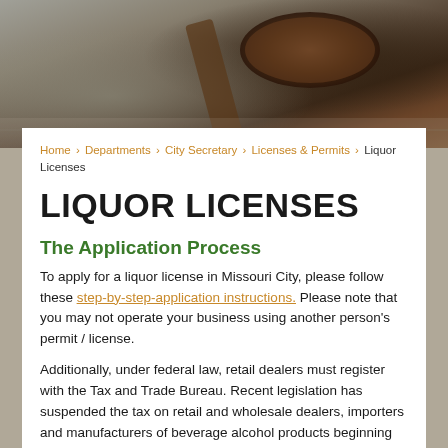[Figure (photo): Photo banner of a gavel on a surface, close-up, dark brown tones]
Home › Departments › City Secretary › Licenses & Permits › Liquor Licenses
LIQUOR LICENSES
The Application Process
To apply for a liquor license in Missouri City, please follow these step-by-step-application instructions. Please note that you may not operate your business using another person's permit / license.
Additionally, under federal law, retail dealers must register with the Tax and Trade Bureau. Recent legislation has suspended the tax on retail and wholesale dealers, importers and manufacturers of beverage alcohol products beginning with the 2006 tax year that starts July 1, 2005. You will still be